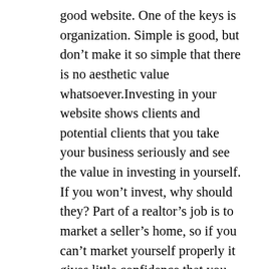good website. One of the keys is organization. Simple is good, but don't make it so simple that there is no aesthetic value whatsoever.Investing in your website shows clients and potential clients that you take your business seriously and see the value in investing in yourself. If you won't invest, why should they? Part of a realtor's job is to market a seller's home, so if you can't market yourself properly it gives little confidence that you can effectively market a home. Of course your skills could be top-notch and word of mouth might bring in loads of business despite your lack-lustre website. However, don't overlook the power of what we call “online drop-ins.” One of the best ways to find a realtor is to ask for recommendations, but many people look to the internet and search for someone in the area.You might be a top seller, but a bad website might make potential clients scroll right past you. What incentive do they have to read more about you if all they see is your photo (if you learned anything from our past lessons, it